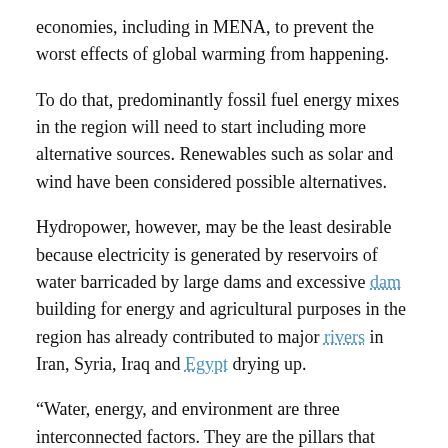economies, including in MENA, to prevent the worst effects of global warming from happening.
To do that, predominantly fossil fuel energy mixes in the region will need to start including more alternative sources. Renewables such as solar and wind have been considered possible alternatives.
Hydropower, however, may be the least desirable because electricity is generated by reservoirs of water barricaded by large dams and excessive dam building for energy and agricultural purposes in the region has already contributed to major rivers in Iran, Syria, Iraq and Egypt drying up.
“Water, energy, and environment are three interconnected factors. They are the pillars that define the quality of life in any country … If one goes wrong the others follow,” said Essam Heggy, a scientist at the